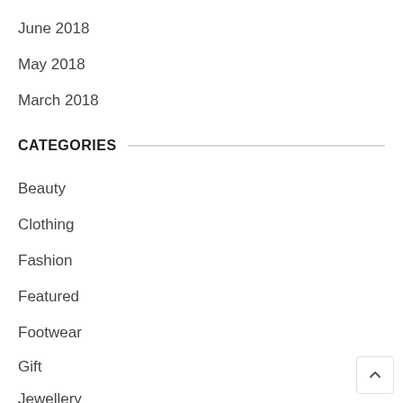June 2018
May 2018
March 2018
CATEGORIES
Beauty
Clothing
Fashion
Featured
Footwear
Gift
Jewellery